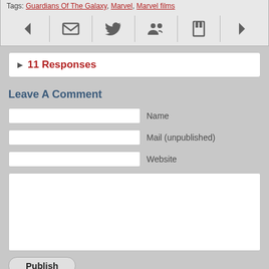Tags: Guardians Of The Galaxy, Marvel, Marvel films
[Figure (screenshot): Navigation toolbar with back arrow, email icon, twitter bird icon, social/group icon, bookmark icon, and forward arrow]
▶ 11 Responses
Leave A Comment
Name (input field)
Mail (unpublished) (input field)
Website (input field)
Comment textarea
Publish (button)